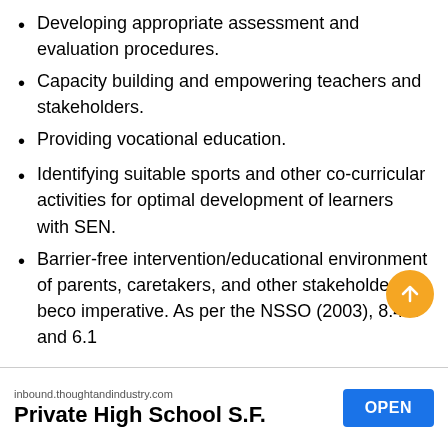Developing appropriate assessment and evaluation procedures.
Capacity building and empowering teachers and stakeholders.
Providing vocational education.
Identifying suitable sports and other co-curricular activities for optimal development of learners with SEN.
Barrier-free intervention/educational environment of parents, caretakers, and other stakeholders become imperative. As per the NSSO (2003), 8.4% and 6.1...
inbound.thoughtandindustry.com
Private High School S.F.